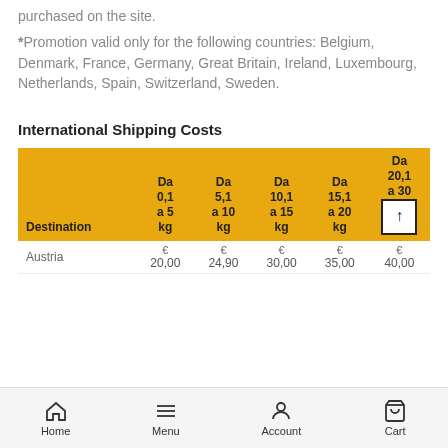purchased on the site.
*Promotion valid only for the following countries: Belgium, Denmark, France, Germany, Great Britain, Ireland, Luxembourg, Netherlands, Spain, Switzerland, Sweden.
International Shipping Costs
| Destination | Da 0,1 a 5 kg | Da 5,1 a 10 kg | Da 10,1 a 15 kg | Da 15,1 a 20 kg | Da 20,1 a 30 kg |
| --- | --- | --- | --- | --- | --- |
| Austria | € 20,00 | € 24,90 | € 30,00 | € 35,00 | € 40,00 |